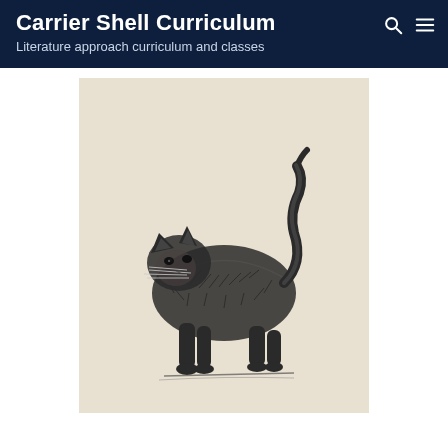Carrier Shell Curriculum
Literature approach curriculum and classes
[Figure (illustration): Vintage woodcut or engraving illustration of a scruffy, arched-back cat walking, with tail raised, whiskers prominent, depicted in black ink on a beige/cream aged paper background.]